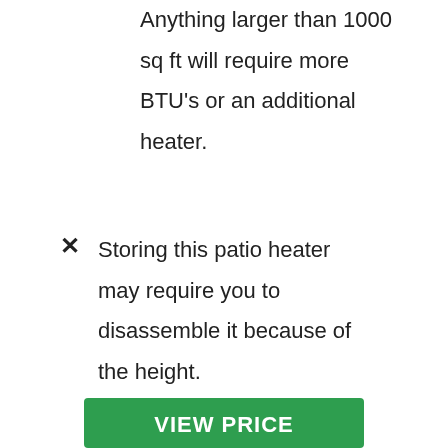Anything larger than 1000 sq ft will require more BTU's or an additional heater.
Storing this patio heater may require you to disassemble it because of the height.
VIEW PRICE